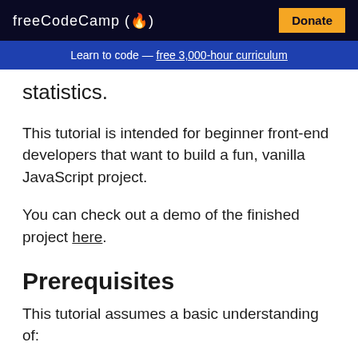freeCodeCamp(🔥)   Donate
Learn to code — free 3,000-hour curriculum
statistics.
This tutorial is intended for beginner front-end developers that want to build a fun, vanilla JavaScript project.
You can check out a demo of the finished project here.
Prerequisites
This tutorial assumes a basic understanding of: